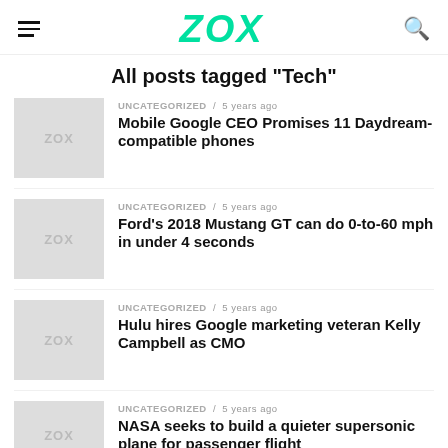ZOX
All posts tagged "Tech"
UNCATEGORIZED / 5 years ago
Mobile Google CEO Promises 11 Daydream-compatible phones
UNCATEGORIZED / 5 years ago
Ford's 2018 Mustang GT can do 0-to-60 mph in under 4 seconds
UNCATEGORIZED / 5 years ago
Hulu hires Google marketing veteran Kelly Campbell as CMO
UNCATEGORIZED / 5 years ago
NASA seeks to build a quieter supersonic plane for passenger flight